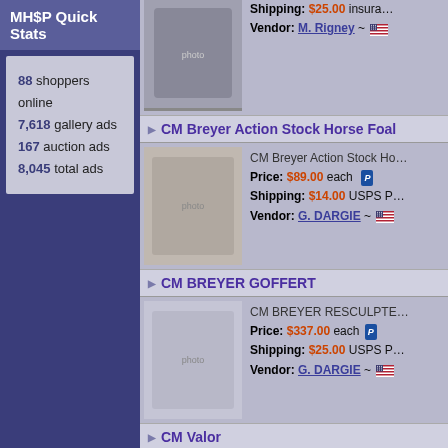MH$P Quick Stats
88 shoppers online
7,618 gallery ads
167 auction ads
8,045 total ads
CM Breyer Action Stock Horse Foal
[Figure (photo): Black CM Breyer Action Stock Horse Foal figurine]
CM Breyer Action Stock Ho
Price: $89.00 each
Shipping: $14.00 USPS P
Vendor: G. DARGIE ~
CM BREYER GOFFERT
[Figure (photo): White/grey CM Breyer Goffert running horse figurine]
CM BREYER RESCULPTE
Price: $337.00 each
Shipping: $25.00 USPS P
Vendor: G. DARGIE ~
CM Valor
[Figure (photo): CM Valor horse figurine in black and white paint]
By Sherry Clayton
Price: $875.00 PPD